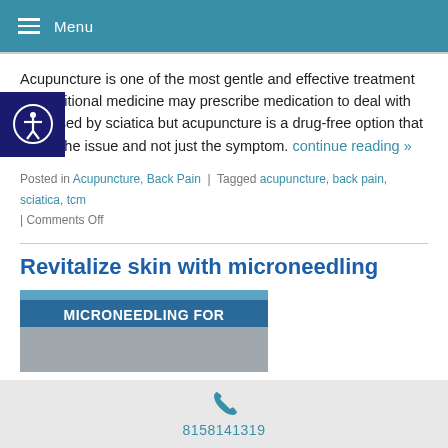Menu
Acupuncture is one of the most gentle and effective treatment s. Traditional medicine may prescribe medication to deal with in caused by sciatica but acupuncture is a drug-free option that treats the issue and not just the symptom. continue reading »
Posted in Acupuncture, Back Pain | Tagged acupuncture, back pain, sciatica, tcm | Comments Off
Revitalize skin with microneedling
[Figure (photo): Image with text 'MICRONEEDLING FOR' on a blue/teal background with a photo below]
8158141319